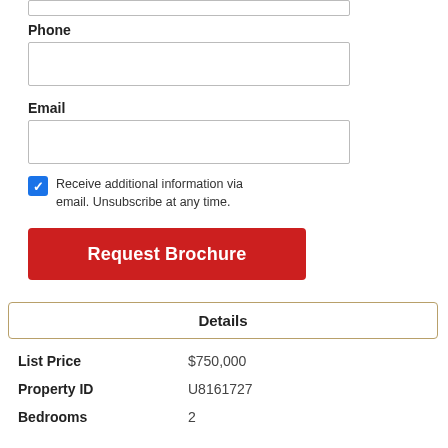Phone
Email
Receive additional information via email. Unsubscribe at any time.
Request Brochure
| Field | Value |
| --- | --- |
| List Price | $750,000 |
| Property ID | U8161727 |
| Bedrooms | 2 |